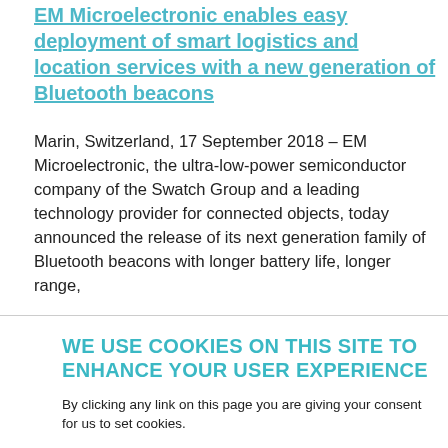EM Microelectronic enables easy deployment of smart logistics and location services with a new generation of Bluetooth beacons
Marin, Switzerland, 17 September 2018 – EM Microelectronic, the ultra-low-power semiconductor company of the Swatch Group and a leading technology provider for connected objects, today announced the release of its next generation family of Bluetooth beacons with longer battery life, longer range,
WE USE COOKIES ON THIS SITE TO ENHANCE YOUR USER EXPERIENCE
By clicking any link on this page you are giving your consent for us to set cookies.